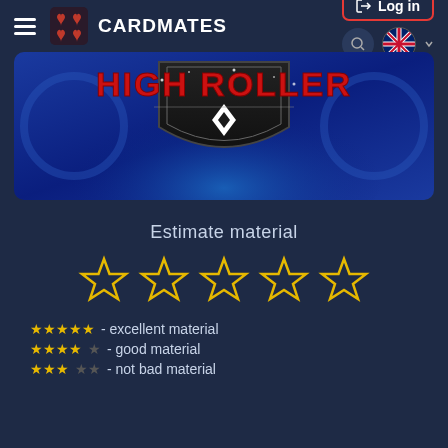CARDMATES  Log in
[Figure (screenshot): High Roller poker promotion banner with red bold text 'HIGH ROLLER' on a dark shield/badge with a diamond spade symbol, blue glowing background]
Estimate material
[Figure (infographic): 5 large empty (outline) gold stars for user rating input]
★★★★★ - excellent material
★★★★☆ - good material
★★★☆☆ - not bad material